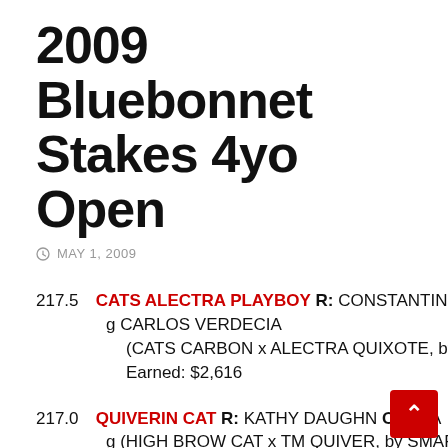2009 Bluebonnet Stakes 4yo Open
MAY 1, 2009
217.5 CATS ALECTRA PLAYBOY R: CONSTANTIN g CARLOS VERDECIA (CATS CARBON x ALECTRA QUIXOTE, by L Earned: $2,616
217.0 QUIVERIN CAT R: KATHY DAUGHN O: CHA g (HIGH BROW CAT x TM QUIVER, by SMART Earned: $2,140